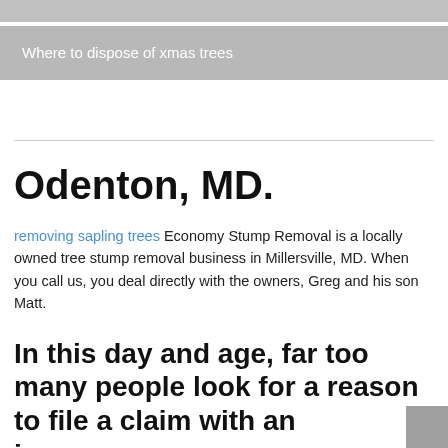Where to dispose of xmas trees
Odenton, MD.
removing sapling trees Economy Stump Removal is a locally owned tree stump removal business in Millersville, MD. When you call us, you deal directly with the owners, Greg and his son Matt.
In this day and age, far too many people look for a reason to file a claim with an insurance company.
We offer free estimates and a special rate of 40 for stumps 18" or